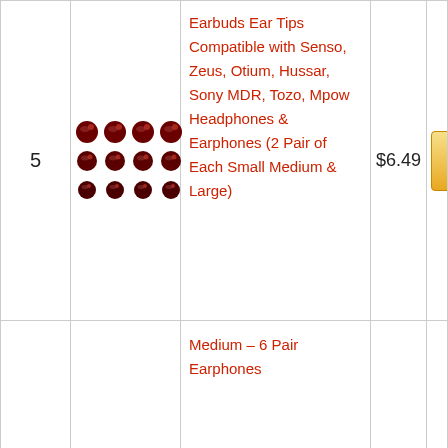| # | Image | Product Name | Price | Buy |
| --- | --- | --- | --- | --- |
| 5 | [image] | Earbuds Ear Tips Compatible with Senso, Zeus, Otium, Hussar, Sony MDR, Tozo, Mpow Headphones & Earphones (2 Pair of Each Small Medium & Large) | $6.49 | Buy on Amazon |
|  |  | Medium – 6 Pair Earphones |  |  |